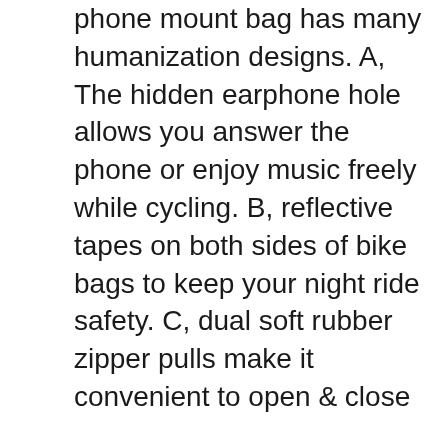phone mount bag has many humanization designs. A, The hidden earphone hole allows you answer the phone or enjoy music freely while cycling. B, reflective tapes on both sides of bike bags to keep your night ride safety. C, dual soft rubber zipper pulls make it convenient to open & close
DURABLE & WATER RESISTANT: The bike top tube bag is made of ultralight and stylish carbon fiber material with sealed double zippers closure, which ensures the water doesn’t flow into the bag.The sun visor and flashing board is great use for rainy or sunny day
EASY TO INSTALL & QUICK RELEASE: 3 straps are firm enough to hold up on